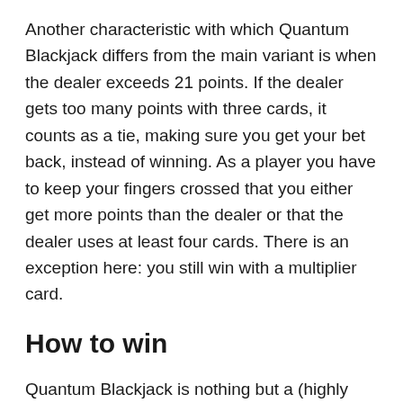Another characteristic with which Quantum Blackjack differs from the main variant is when the dealer exceeds 21 points. If the dealer gets too many points with three cards, it counts as a tie, making sure you get your bet back, instead of winning. As a player you have to keep your fingers crossed that you either get more points than the dealer or that the dealer uses at least four cards. There is an exception here: you still win with a multiplier card.
How to win
Quantum Blackjack is nothing but a (highly interesting) variant of the normal blackjack game, meaning you can stick to your normal strategy in most situations. Therefore, make sure to find a strategy that you think you can master